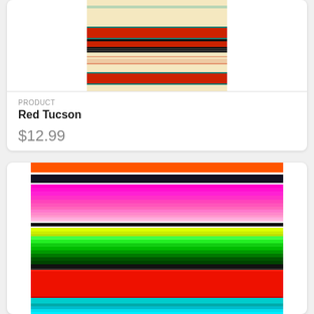[Figure (photo): Red Tucson blanket with Southwestern/Native American geometric pattern in cream, red, teal and black stripes]
PRODUCT
Red Tucson
$12.99
[Figure (photo): Colorful striped Mexican serape blanket with orange, black, magenta/pink gradients, yellow-green, bright green, dark green, red and teal horizontal stripes]